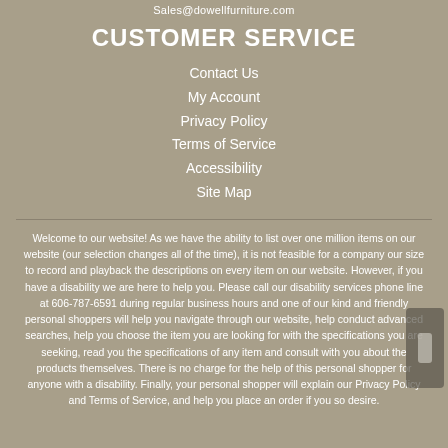Sales@dowellfurniture.com
CUSTOMER SERVICE
Contact Us
My Account
Privacy Policy
Terms of Service
Accessibility
Site Map
Welcome to our website! As we have the ability to list over one million items on our website (our selection changes all of the time), it is not feasible for a company our size to record and playback the descriptions on every item on our website. However, if you have a disability we are here to help you. Please call our disability services phone line at 606-787-6591 during regular business hours and one of our kind and friendly personal shoppers will help you navigate through our website, help conduct advanced searches, help you choose the item you are looking for with the specifications you are seeking, read you the specifications of any item and consult with you about the products themselves. There is no charge for the help of this personal shopper for anyone with a disability. Finally, your personal shopper will explain our Privacy Policy and Terms of Service, and help you place an order if you so desire.